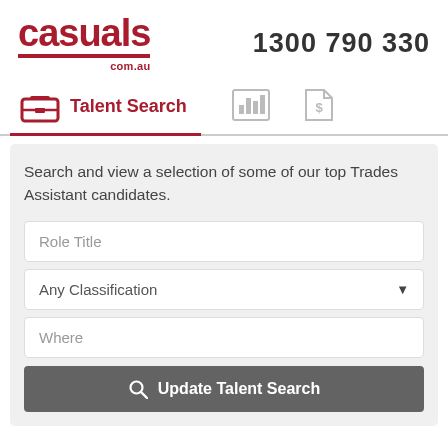[Figure (logo): casuals.com.au logo in dark red with horizontal red bar]
1300 790 330
[Figure (screenshot): Navigation tabs: Talent Search (active, with briefcase icon), bar chart icon tab, document/dollar icon tab]
Search and view a selection of some of our top Trades Assistant candidates.
Role Title
Any Classification
Where
Update Talent Search